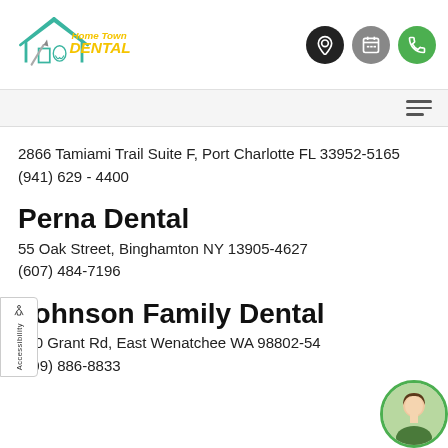[Figure (logo): HomeTown Dental logo with house outline, tooth graphic, and yellow/green text]
2866 Tamiami Trail Suite F, Port Charlotte FL 33952-5165
(941) 629 - 4400
Perna Dental
55 Oak Street, Binghamton NY 13905-4627
(607) 484-7196
Johnson Family Dental
790 Grant Rd, East Wenatchee WA 98802-54
(509) 886-8833